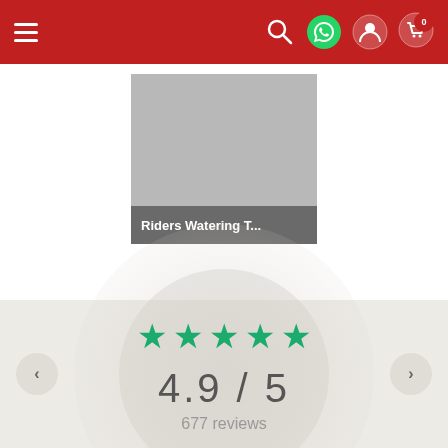Navigation bar with hamburger menu, search, WhatsApp, user, and cart icons (0 items)
[Figure (photo): Product card showing a gray placeholder product image with label 'Riders Watering T...' in a dark gray bar below]
[Figure (infographic): Customer review rating display: 5 green stars, rating 4.9/5, 677 reviews, on a light beige circular background with left/right navigation arrows]